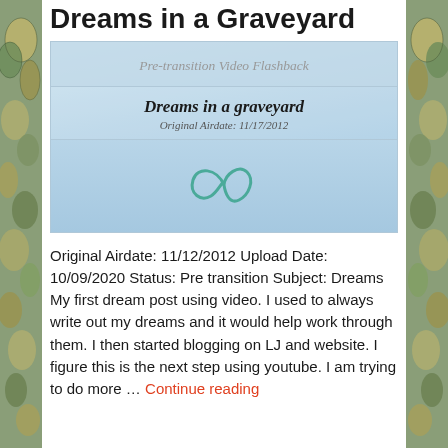Dreams in a Graveyard
[Figure (screenshot): Video thumbnail showing 'Pre-transition Video Flashback' header, title 'Dreams in a graveyard', 'Original Airdate: 11/17/2012', and a teal infinity/alpha symbol logo on a light blue gradient background]
Original Airdate: 11/12/2012 Upload Date: 10/09/2020 Status: Pre transition Subject: Dreams My first dream post using video. I used to always write out my dreams and it would help work through them. I then started blogging on LJ and website. I figure this is the next step using youtube. I am trying to do more … Continue reading